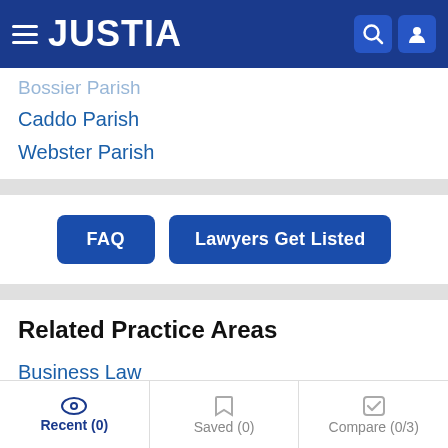JUSTIA
Bossier Parish
Caddo Parish
Webster Parish
FAQ | Lawyers Get Listed
Related Practice Areas
Business Law
Patents
Trademarks
Recent (0)  Saved (0)  Compare (0/3)